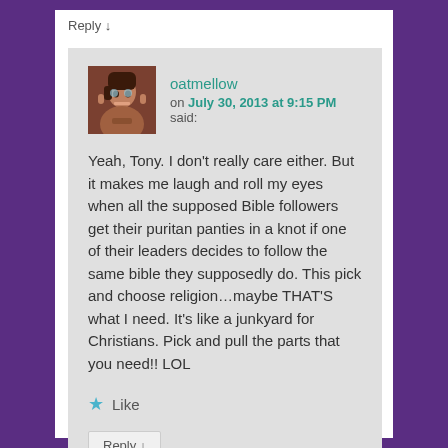Reply ↓
oatmellow
on July 30, 2013 at 9:15 PM said:
Yeah, Tony. I don't really care either. But it makes me laugh and roll my eyes when all the supposed Bible followers get their puritan panties in a knot if one of their leaders decides to follow the same bible they supposedly do. This pick and choose religion…maybe THAT'S what I need. It's like a junkyard for Christians. Pick and pull the parts that you need!! LOL
Like
Reply ↓